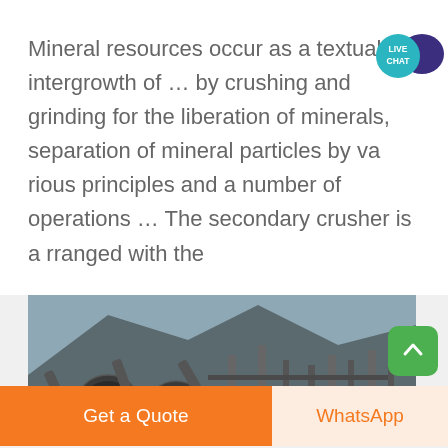Mineral resources occur as a textual intergrowth of … by crushing and grinding for the liberation of minerals, separation of mineral particles by va rious principles and a number of operations … The secondary crusher is a rranged with the
[Figure (photo): Outdoor photograph of a mining/crushing facility with conveyor belts, industrial machinery, and a rocky hillside in the background. Workers visible in foreground.]
Get a Quote
WhatsApp